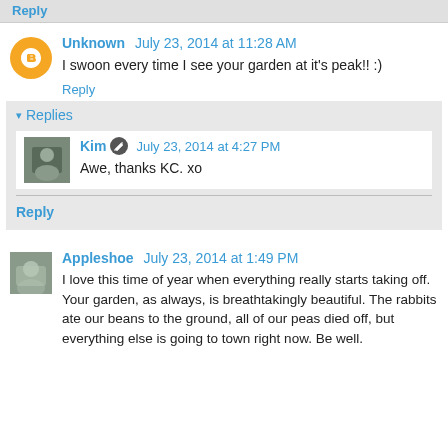[top bar / partial previous comment]
Unknown July 23, 2014 at 11:28 AM
I swoon every time I see your garden at it's peak!! :)
Reply
Replies
Kim July 23, 2014 at 4:27 PM
Awe, thanks KC. xo
Reply
Appleshoe July 23, 2014 at 1:49 PM
I love this time of year when everything really starts taking off. Your garden, as always, is breathtakingly beautiful. The rabbits ate our beans to the ground, all of our peas died off, but everything else is going to town right now. Be well.